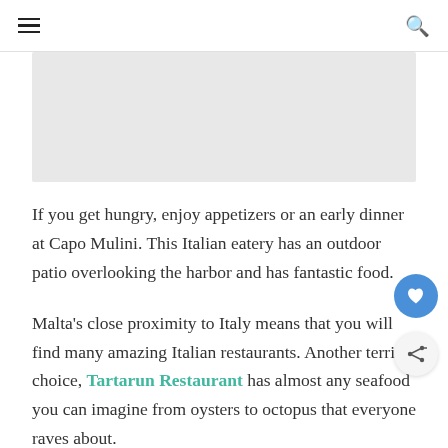≡  🔍
[Figure (photo): Gray placeholder image area]
If you get hungry, enjoy appetizers or an early dinner at Capo Mulini. This Italian eatery has an outdoor patio overlooking the harbor and has fantastic food.
Malta's close proximity to Italy means that you will find many amazing Italian restaurants. Another terrific choice, Tartarun Restaurant has almost any seafood you can imagine from oysters to octopus that everyone raves about.